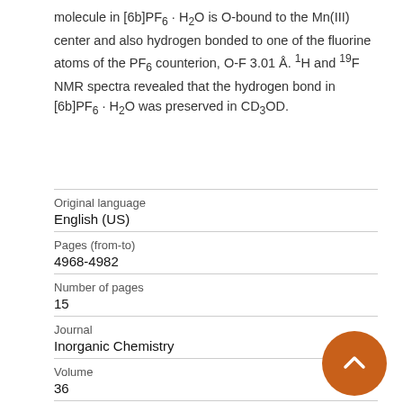molecule in [6b]PF₆·H₂O is O-bound to the Mn(III) center and also hydrogen bonded to one of the fluorine atoms of the PF₆ counterion, O-F 3.01 Å. ¹H and ¹⁹F NMR spectra revealed that the hydrogen bond in [6b]PF₆·H₂O was preserved in CD₃OD.
| Field | Value |
| --- | --- |
| Original language | English (US) |
| Pages (from-to) | 4968-4982 |
| Number of pages | 15 |
| Journal | Inorganic Chemistry |
| Volume | 36 |
| Issue number | 22 |